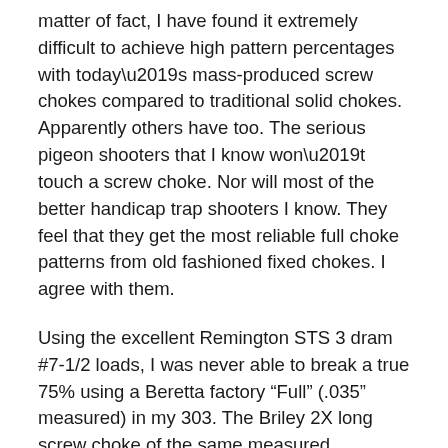matter of fact, I have found it extremely difficult to achieve high pattern percentages with today's mass-produced screw chokes compared to traditional solid chokes. Apparently others have too. The serious pigeon shooters that I know won't touch a screw choke. Nor will most of the better handicap trap shooters I know. They feel that they get the most reliable full choke patterns from old fashioned fixed chokes. I agree with them.
Using the excellent Remington STS 3 dram #7-1/2 loads, I was never able to break a true 75% using a Beretta factory “Full” (.035” measured) in my 303. The Briley 2X long screw choke of the same measured constriction produced identical percentages. A Briley 2X “XFull” choke of a measured .040” could touch 78% with the STS. While 75% certainly classifies as a “full” choke by SAAMI standards, I certainly have tested a number of my Belgian